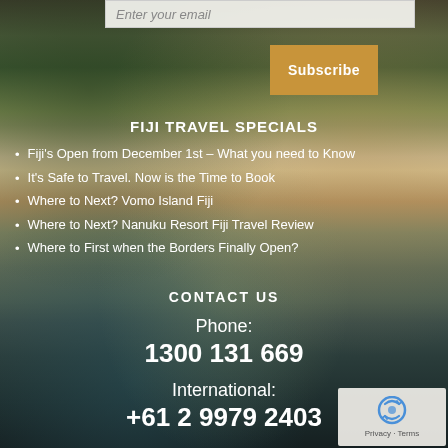Enter your email
Subscribe
FIJI TRAVEL SPECIALS
Fiji's Open from December 1st – What you need to Know
It's Safe to Travel. Now is the Time to Book
Where to Next? Vomo Island Fiji
Where to Next? Nanuku Resort Fiji Travel Review
Where to First when the Borders Finally Open?
CONTACT US
Phone:
1300 131 669
International:
+61 2 9979 2403
[Figure (logo): reCAPTCHA logo with Privacy and Terms text]